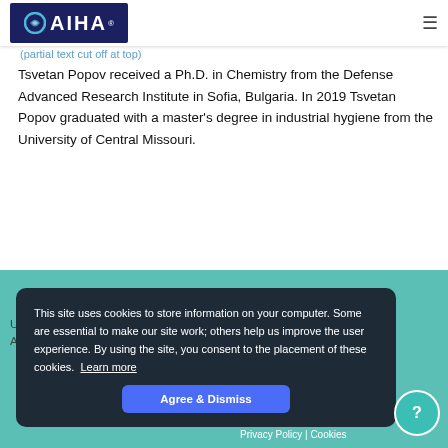[Figure (logo): AIHA logo with blue background and circular icon]
Tsvetan Popov received a Ph.D. in Chemistry from the Defense Advanced Research Institute in Sofia, Bulgaria. In 2019 Tsvetan Popov graduated with a master's degree in industrial hygiene from the University of Central Missouri.
This site uses cookies to store information on your computer. Some are essential to make our site work; others help us improve the user experience. By using the site, you consent to the placement of these cookies. Learn more
Upcoming Events   Courses   Search   Support
About AIHA   Sign In
Privacy Policy | Cookies